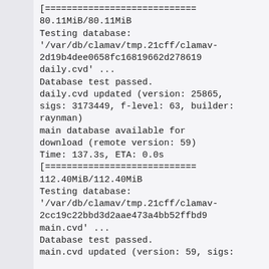[============================
80.11MiB/80.11MiB
Testing database:
'/var/db/clamav/tmp.21cff/clamav-2d19b4dee0658fc16819662d278619
daily.cvd' ...
Database test passed.
daily.cvd updated (version: 25865, sigs: 3173449, f-level: 63, builder: raynman)
main database available for download (remote version: 59)
Time: 137.3s, ETA: 0.0s
[============================
112.40MiB/112.40MiB
Testing database:
'/var/db/clamav/tmp.21cff/clamav-2cc19c22bbd3d2aae473a4bb52ffbd9
main.cvd' ...
Database test passed.
main.cvd updated (version: 59, sigs: